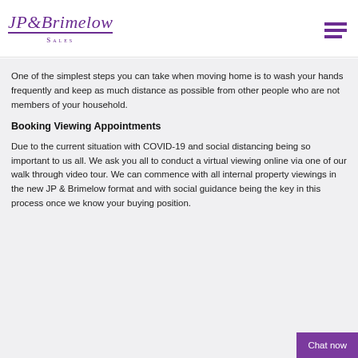JP&Brimelow Sales
One of the simplest steps you can take when moving home is to wash your hands frequently and keep as much distance as possible from other people who are not members of your household.
Booking Viewing Appointments
Due to the current situation with COVID-19 and social distancing being so important to us all. We ask you all to conduct a virtual viewing online via one of our walk through video tour. We can commence with all internal property viewings in the new JP & Brimelow format and with social guidance being the key in this process once we know your buying position.